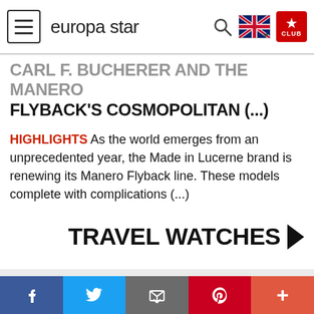europa star
CARL F. BUCHERER AND THE MANERO FLYBACK'S COSMOPOLITAN (...)
HIGHLIGHTS As the world emerges from an unprecedented year, the Made in Lucerne brand is renewing its Manero Flyback line. These models complete with complications (...)
TRAVEL WATCHES
THE EUROPA STAR NEWSLETTER
Enter your email
Join